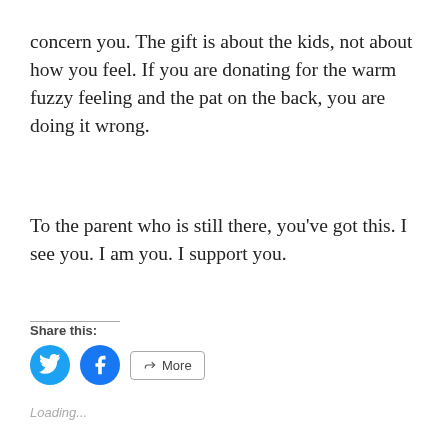concern you.  The gift is about the kids, not about how you feel.  If you are donating for the warm fuzzy feeling and the pat on the back, you are doing it wrong.
To the parent who is still there, you've got this.  I see you.  I am you.  I support you.
Share this:
[Figure (other): Twitter share icon (blue circle with Twitter bird), Facebook share icon (blue circle with Facebook f), and More button with share icon]
Loading...